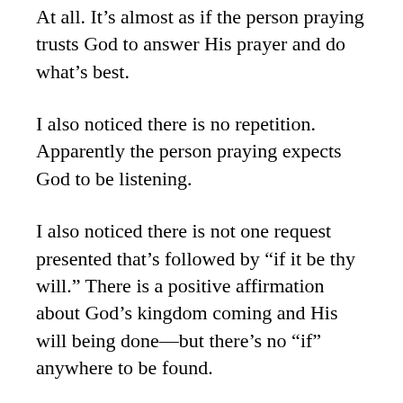At all. It's almost as if the person praying trusts God to answer His prayer and do what's best.
I also noticed there is no repetition. Apparently the person praying expects God to be listening.
I also noticed there is not one request presented that's followed by “if it be thy will.” There is a positive affirmation about God’s kingdom coming and His will being done—but there’s no “if” anywhere to be found.
And I realized, as I studied this time, that my praying has changed over the last couple of years. I believe that has everything to do with the fact that my relationship with God has